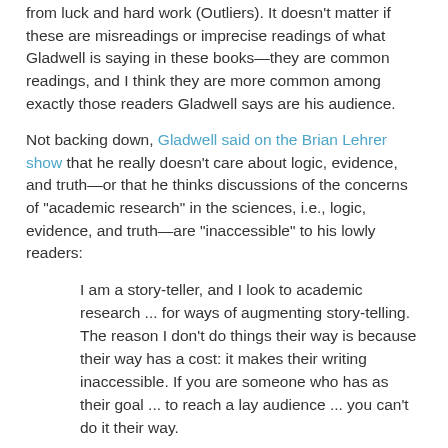from luck and hard work (Outliers). It doesn't matter if these are misreadings or imprecise readings of what Gladwell is saying in these books—they are common readings, and I think they are more common among exactly those readers Gladwell says are his audience.
Not backing down, Gladwell said on the Brian Lehrer show that he really doesn't care about logic, evidence, and truth—or that he thinks discussions of the concerns of "academic research" in the sciences, i.e., logic, evidence, and truth—are "inaccessible" to his lowly readers:
I am a story-teller, and I look to academic research ... for ways of augmenting story-telling. The reason I don't do things their way is because their way has a cost: it makes their writing inaccessible. If you are someone who has as their goal ... to reach a lay audience ... you can't do it their way.
In this and another quote, from his interview in The Telegraph, about what readers "are indifferent to," the condescension and arrogance are in full view: